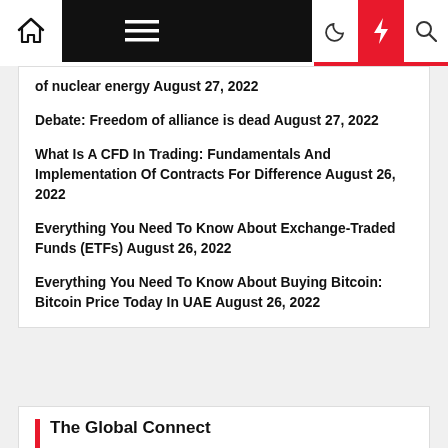Navigation bar with home, menu, dark mode, lightning, and search icons
of nuclear energy August 27, 2022
Debate: Freedom of alliance is dead August 27, 2022
What Is A CFD In Trading: Fundamentals And Implementation Of Contracts For Difference August 26, 2022
Everything You Need To Know About Exchange-Traded Funds (ETFs) August 26, 2022
Everything You Need To Know About Buying Bitcoin: Bitcoin Price Today In UAE August 26, 2022
The Global Connect